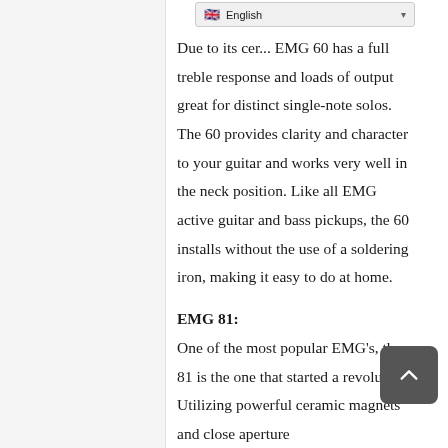Due to its cer... EMG 60 has a full treble response and loads of output great for distinct single-note solos. The 60 provides clarity and character to your guitar and works very well in the neck position. Like all EMG active guitar and bass pickups, the 60 installs without the use of a soldering iron, making it easy to do at home.
EMG 81:
One of the most popular EMG’s, the 81 is the one that started a revolution. Utilizing powerful ceramic magnets and close aperture